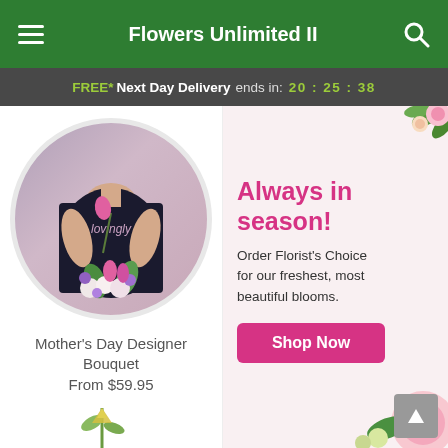Flowers Unlimited II
FREE* Next Day Delivery ends in: 20:25:38
[Figure (photo): Circular photo of florist in dark apron holding pink tulips and a colorful mixed bouquet with 'lovingly' text on apron]
Mother's Day Designer Bouquet
From $59.95
[Figure (infographic): Advertisement banner with floral decorations. Text reads: 'Always in season! Order Florist's Choice for our freshest, most beautiful blooms.' with a pink 'Shop Now' button]
[Figure (photo): Partial flower stem visible at bottom of page]